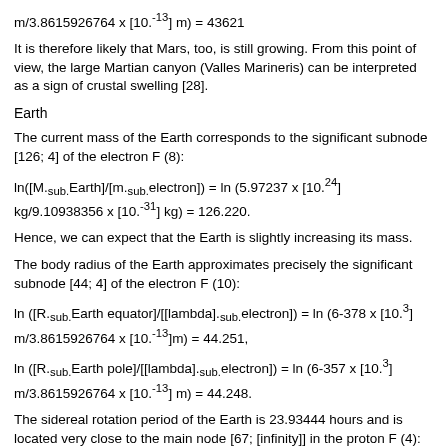m/3.8615926764 x [10.sup.-13] m) = 43621
It is therefore likely that Mars, too, is still growing. From this point of view, the large Martian canyon (Valles Marineris) can be interpreted as a sign of crustal swelling [28].
Earth
The current mass of the Earth corresponds to the significant subnode [126; 4] of the electron F (8):
ln([M.sub.Earth]/[m.sub.electron]) = ln (5.97237 x [10.sup.24] kg/9.10938356 x [10.sup.-31] kg) = 126.220.
Hence, we can expect that the Earth is slightly increasing its mass.
The body radius of the Earth approximates precisely the significant subnode [44; 4] of the electron F (10):
ln ([R.sub.Earth equator]/[[lambda].sub.electron]) = ln (6-378 x [10.sup.3] m/3.8615926764 x [10.sup.-13]m) = 44.251,
ln ([R.sub.Earth pole]/[[lambda].sub.electron]) = ln (6-357 x [10.sup.3] m/3.8615926764 x [10.sup.-13] m) = 44.248.
The sidereal rotation period of the Earth is 23.93444 hours and is located very close to the main node [67; [infinity]] in the proton F (4):
ln ([[tau].sub.Earth]/[[tau].sub.proton]) = ln (23.93444 x 3600 s/7.01515 x [10.sup.-25]) = 66.980,